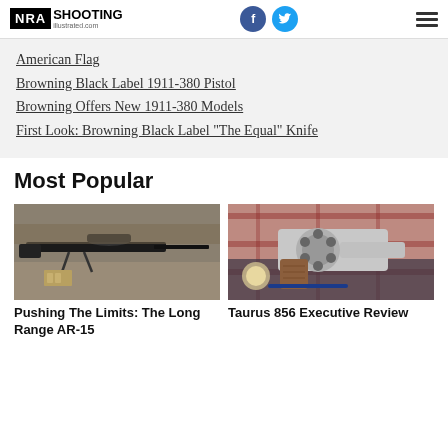NRA Shooting Illustrated
American Flag
Browning Black Label 1911-380 Pistol
Browning Offers New 1911-380 Models
First Look: Browning Black Label "The Equal" Knife
Most Popular
[Figure (photo): A black AR-15 style rifle with a scope and bipod resting on pavement with ammunition nearby]
Pushing The Limits: The Long Range AR-15
[Figure (photo): A stainless steel Taurus 856 revolver with a plaid fabric and other items in the background]
Taurus 856 Executive Review